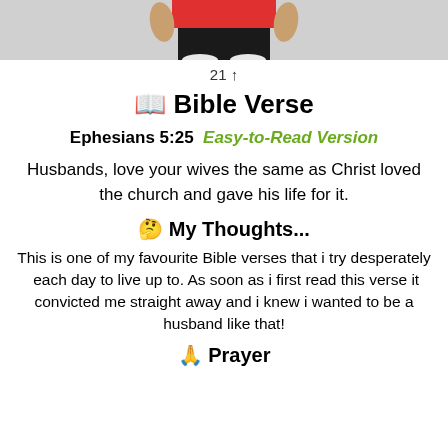[Figure (photo): Partial photo of a person in red shirt and black shorts, cropped at the waist area]
21 ↑
📖 Bible Verse
Ephesians 5:25  Easy-to-Read Version
Husbands, love your wives the same as Christ loved the church and gave his life for it.
🤔 My Thoughts...
This is one of my favourite Bible verses that i try desperately  each day to live up to. As soon as i first read this verse it convicted me straight away and i knew i wanted to be a husband like that!
🙏 Prayer